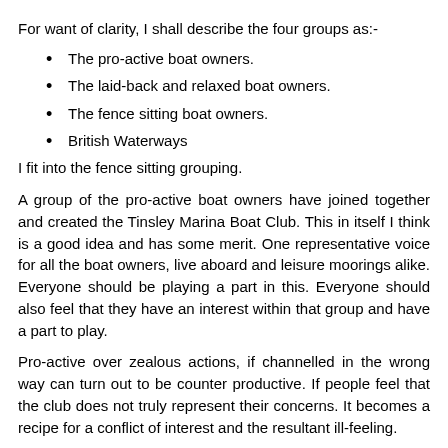For want of clarity, I shall describe the four groups as:-
The pro-active boat owners.
The laid-back and relaxed boat owners.
The fence sitting boat owners.
British Waterways
I fit into the fence sitting grouping.
A group of the pro-active boat owners have joined together and created the Tinsley Marina Boat Club. This in itself I think is a good idea and has some merit. One representative voice for all the boat owners, live aboard and leisure moorings alike. Everyone should be playing a part in this. Everyone should also feel that they have an interest within that group and have a part to play.
Pro-active over zealous actions, if channelled in the wrong way can turn out to be counter productive. If people feel that the club does not truly represent their concerns. It becomes a recipe for a conflict of interest and the resultant ill-feeling.